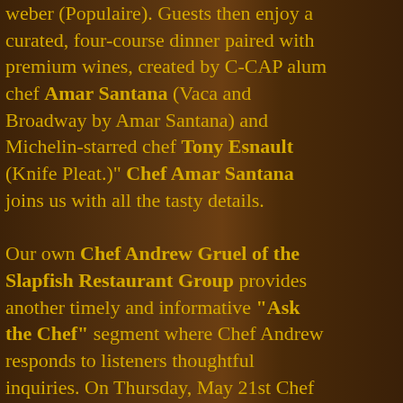weber (Populaire). Guests then enjoy a curated, four-course dinner paired with premium wines, created by C-CAP alum chef Amar Santana (Vaca and Broadway by Amar Santana) and Michelin-starred chef Tony Esnault (Knife Pleat.)" Chef Amar Santana joins us with all the tasty details.

Our own Chef Andrew Gruel of the Slapfish Restaurant Group provides another timely and informative "Ask the Chef" segment where Chef Andrew responds to listeners thoughtful inquiries. On Thursday, May 21st Chef Andrew was the co-headlining chef for Outstanding in the Field's 5-course, sustainable seafood, wine-paired dinner on the Huntington Beach Pier as part of the Los Angeles Times Food Bowl. The distinguished culinary team cooked for a sold-